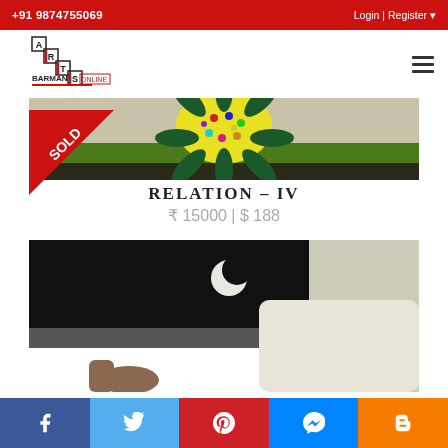+91 9874755069   Login | Register
[Figure (logo): Arts Barman Online logo with stair-step design]
[Figure (photo): Cropped top portion of painting showing colorful sunflower]
[Figure (illustration): SOLD diagonal ribbon badge in red]
RELATION - IV
₹ 15000 | $ 188
[Figure (photo): Painting showing a figure with crescent moon in dark background]
f  Twitter  Pinterest  Messenger  Blogger social share buttons